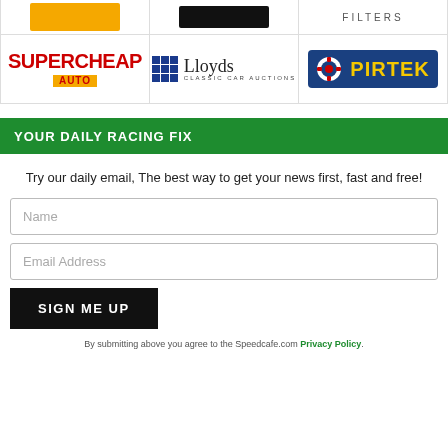[Figure (logo): Top row partial sponsor logos: orange logo, dark logo, FILTERS text]
[Figure (logo): SupercheapAuto logo]
[Figure (logo): Lloyds Classic Car Auctions logo]
[Figure (logo): Pirtek logo]
YOUR DAILY RACING FIX
Try our daily email, The best way to get your news first, fast and free!
Name
Email Address
SIGN ME UP
By submitting above you agree to the Speedcafe.com Privacy Policy.